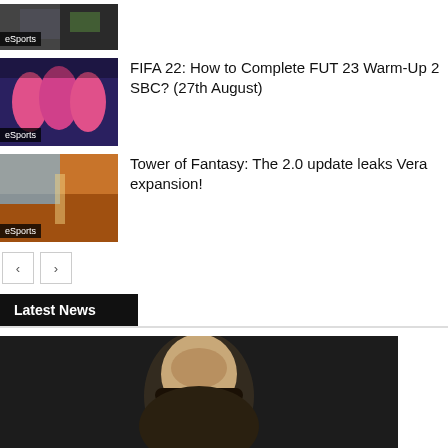[Figure (screenshot): eSports thumbnail image with 'eSports' label, partially cropped at top]
[Figure (screenshot): FIFA 22 players in pink/red uniforms, eSports label]
FIFA 22: How to Complete FUT 23 Warm-Up 2 SBC? (27th August)
[Figure (screenshot): Tower of Fantasy game screenshot with anime character, eSports label]
Tower of Fantasy: The 2.0 update leaks Vera expansion!
< >
Latest News
[Figure (photo): Photo of a man with glasses, dark background, partially cropped]